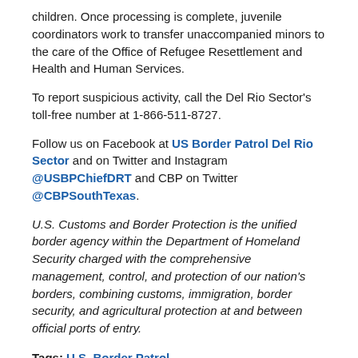children. Once processing is complete, juvenile coordinators work to transfer unaccompanied minors to the care of the Office of Refugee Resettlement and Health and Human Services.
To report suspicious activity, call the Del Rio Sector's toll-free number at 1-866-511-8727.
Follow us on Facebook at US Border Patrol Del Rio Sector and on Twitter and Instagram @USBPChiefDRT and CBP on Twitter @CBPSouthTexas.
U.S. Customs and Border Protection is the unified border agency within the Department of Homeland Security charged with the comprehensive management, control, and protection of our nation's borders, combining customs, immigration, border security, and agricultural protection at and between official ports of entry.
Tags: U.S. Border Patrol, Unaccompanied Children (UC)
Last Modified: February 11, 2022